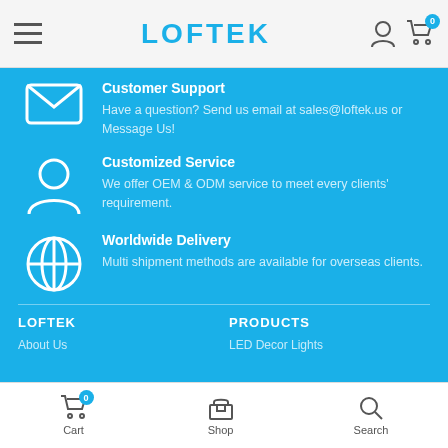LOFTEK
Customer Support
Have a question? Send us email at sales@loftek.us or Message Us!
Customized Service
We offer OEM & ODM service to meet every clients' requirement.
Worldwide Delivery
Multi shipment methods are available for overseas clients.
LOFTEK
PRODUCTS
About Us
LED Decor Lights
Cart  Shop  Search